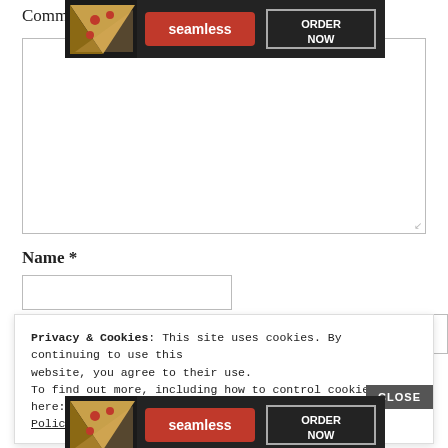Comm
[Figure (infographic): Seamless food delivery ad banner with pizza slice image, red 'seamless' logo, and 'ORDER NOW' button on dark background]
Name *
Privacy & Cookies: This site uses cookies. By continuing to use this website, you agree to their use.
To find out more, including how to control cookies, see here: Cookie Policy
[Figure (infographic): Seamless food delivery ad banner (bottom) with pizza slice image, red 'seamless' logo, and 'ORDER NOW' button on dark background]